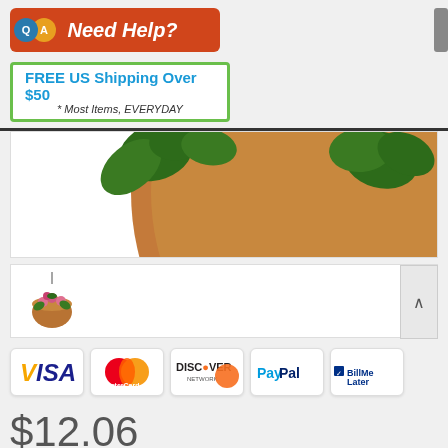[Figure (logo): QA Need Help? orange banner with Q and A speech bubbles]
[Figure (infographic): FREE US Shipping Over $50 * Most Items, EVERYDAY green-bordered banner]
[Figure (photo): Close-up of hanging plant with green leaves and terracotta-colored pot]
[Figure (photo): Thumbnail of hanging basket plant with pink flowers]
[Figure (logo): Payment method icons: Visa, MasterCard, Discover Network, PayPal, BillMeLater]
$12.06